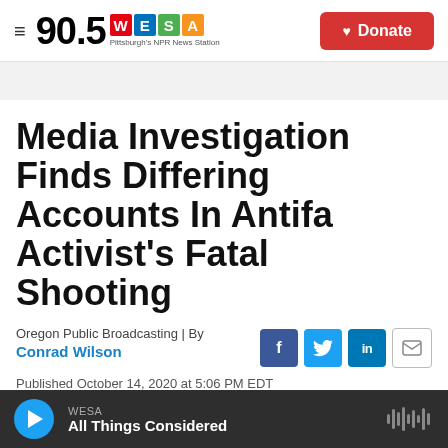90.5 WESA Pittsburgh's NPR News Station | Donate
Media Investigation Finds Differing Accounts In Antifa Activist's Fatal Shooting
Oregon Public Broadcasting | By Conrad Wilson
Published October 14, 2020 at 5:06 PM EDT
WESA All Things Considered